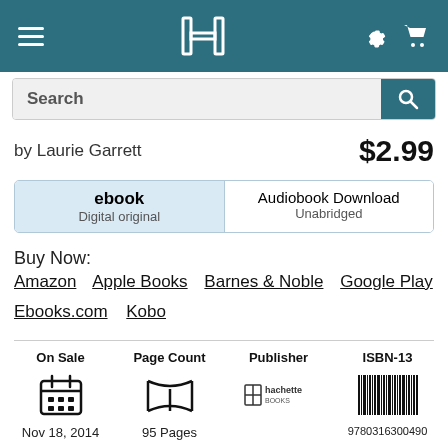Hachette Books app header with hamburger menu, logo, settings and cart icons
Search
by Laurie Garrett   $2.99
ebook Digital original | Audiobook Download Unabridged
Buy Now:
Amazon
Apple Books
Barnes & Noble
Google Play
Ebooks.com
Kobo
| On Sale | Page Count | Publisher | ISBN-13 |
| --- | --- | --- | --- |
| Nov 18, 2014 | 95 Pages | hachette books | 9780316300490 |